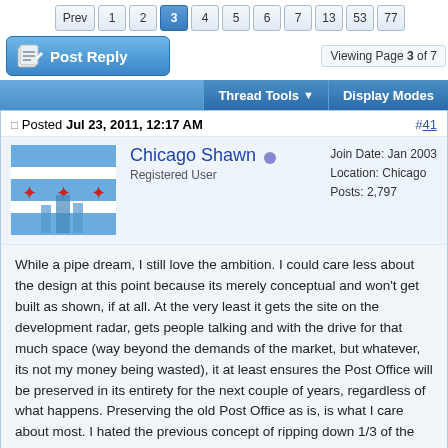Prev 1 2 3 4 5 6 7 13 53 77
Viewing Page 3 of 7
[Figure (screenshot): Post Reply button with pencil/paper icon]
Thread Tools  Display Modes
Posted Jul 23, 2011, 12:17 AM  #41
[Figure (photo): Chicago flag avatar image]
Chicago Shawn
Registered User
Join Date: Jan 2003
Location: Chicago
Posts: 2,797
While a pipe dream, I still love the ambition. I could care less about the design at this point because its merely conceptual and won't get built as shown, if at all. At the very least it gets the site on the development radar, gets people talking and with the drive for that much space (way beyond the demands of the market, but whatever, its not my money being wasted), it at least ensures the Post Office will be preserved in its entirety for the next couple of years, regardless of what happens. Preserving the old Post Office as is, is what I care about most. I hated the previous concept of ripping down 1/3 of the structure, so any plan that keeps the building gets my support.

Davies apparently has financing for phase 1, whether or not that